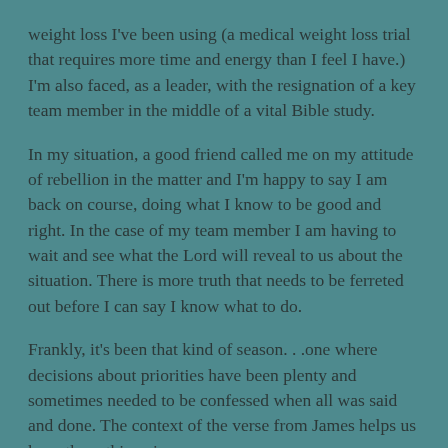weight loss I've been using (a medical weight loss trial that requires more time and energy than I feel I have.) I'm also faced, as a leader, with the resignation of a key team member in the middle of a vital Bible study.
In my situation, a good friend called me on my attitude of rebellion in the matter and I'm happy to say I am back on course, doing what I know to be good and right. In the case of my team member I am having to wait and see what the Lord will reveal to us about the situation. There is more truth that needs to be ferreted out before I can say I know what to do.
Frankly, it's been that kind of season. . .one where decisions about priorities have been plenty and sometimes needed to be confessed when all was said and done. The context of the verse from James helps us keep these things in